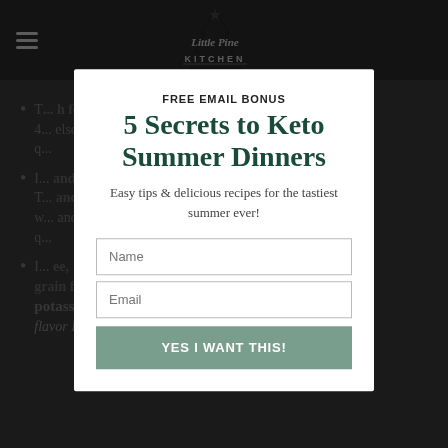Little Pine Kitchen
T... for ... else ...
M... and T... and ... and ...
M... gluten free, grain free, sugar free, high in potassium, calcium and vitamin A and flavor PACKED!
[Figure (screenshot): Email signup modal popup for 'Little Pine Kitchen' website. Modal shows: FREE EMAIL BONUS heading, '5 Secrets to Keto Summer Dinners' title, subtitle 'Easy tips & delicious recipes for the tastiest summer ever!', Name input field, Email input field, 'YES I WANT THIS!' green button.]
FREE EMAIL BONUS
5 Secrets to Keto Summer Dinners
Easy tips & delicious recipes for the tastiest summer ever!
Name
Email
YES I WANT THIS!